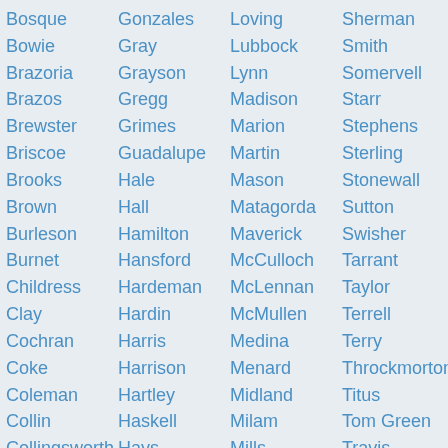Bosque
Gonzales
Loving
Sherman
Bowie
Gray
Lubbock
Smith
Brazoria
Grayson
Lynn
Somervell
Brazos
Gregg
Madison
Starr
Brewster
Grimes
Marion
Stephens
Briscoe
Guadalupe
Martin
Sterling
Brooks
Hale
Mason
Stonewall
Brown
Hall
Matagorda
Sutton
Burleson
Hamilton
Maverick
Swisher
Burnet
Hansford
McCulloch
Tarrant
Childress
Hardeman
McLennan
Taylor
Clay
Hardin
McMullen
Terrell
Cochran
Harris
Medina
Terry
Coke
Harrison
Menard
Throckmorton
Coleman
Hartley
Midland
Titus
Collin
Haskell
Milam
Tom Green
Collingsworth
Hays
Mills
Travis
Colorado
Hemphill
Mitchell
Trinity
Comal
Henderson
Montague
Tyler
Comanche
Hidalgo
Montgomery
Upshur